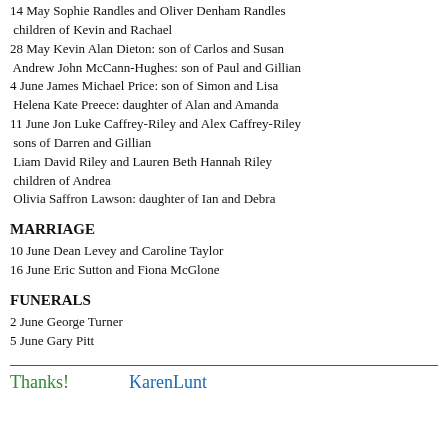14 May Sophie Randles and Oliver Denham Randles children of Kevin and Rachael
28 May Kevin Alan Dieton: son of Carlos and Susan
Andrew John McCann-Hughes: son of Paul and Gillian
4 June James Michael Price: son of Simon and Lisa
Helena Kate Preece: daughter of Alan and Amanda
11 June Jon Luke Caffrey-Riley and Alex Caffrey-Riley sons of Darren and Gillian
Liam David Riley and Lauren Beth Hannah Riley children of Andrea
Olivia Saffron Lawson: daughter of Ian and Debra
MARRIAGE
10 June Dean Levey and Caroline Taylor
16 June Eric Sutton and Fiona McGlone
FUNERALS
2 June George Turner
5 June Gary Pitt
Thanks!          KarenLunt